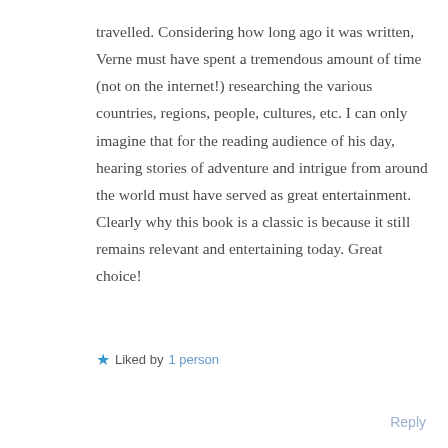travelled. Considering how long ago it was written, Verne must have spent a tremendous amount of time (not on the internet!) researching the various countries, regions, people, cultures, etc. I can only imagine that for the reading audience of his day, hearing stories of adventure and intrigue from around the world must have served as great entertainment. Clearly why this book is a classic is because it still remains relevant and entertaining today. Great choice!
★ Liked by 1 person
Reply